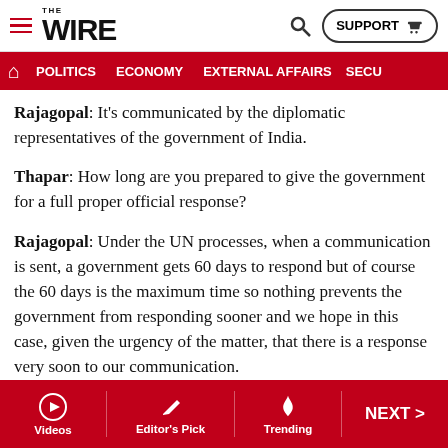THE WIRE — POLITICS | ECONOMY | EXTERNAL AFFAIRS | SECU...
Rajagopal: It's communicated by the diplomatic representatives of the government of India.
Thapar: How long are you prepared to give the government for a full proper official response?
Rajagopal: Under the UN processes, when a communication is sent, a government gets 60 days to respond but of course the 60 days is the maximum time so nothing prevents the government from responding sooner and we hope in this case, given the urgency of the matter, that there is a response very soon to our communication.
Thapar: 60 days ends on the 9th of August. What will you
Videos | Editor's Pick | Trending | NEXT >